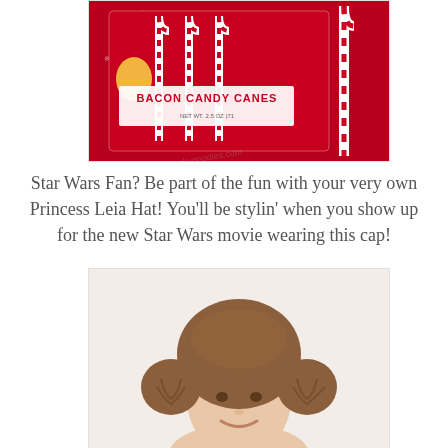[Figure (photo): A box of Bacon Candy Canes with red and white striped candy canes, on a red background with snowflakes. A candy cane leans against the box on the right side.]
Star Wars Fan?  Be part of the fun with your very own Princess Leia Hat!   You'll be stylin' when you show up for the new Star Wars movie wearing this cap!
[Figure (photo): A person wearing a brown fleece Princess Leia beanie hat with the iconic side buns, smiling at the camera against a white/light background.]